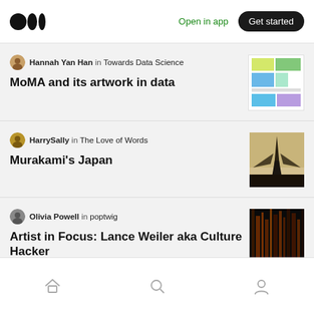Medium logo | Open in app | Get started
Hannah Yan Han in Towards Data Science
MoMA and its artwork in data
[Figure (screenshot): Thumbnail image showing colorful chart data visualization]
HarrySally in The Love of Words
Murakami's Japan
[Figure (photo): Thumbnail photo of dark architectural silhouette]
Olivia Powell in poptwig
Artist in Focus: Lance Weiler aka Culture Hacker
[Figure (photo): Thumbnail dark abstract image with warm tones]
Home | Search | Profile navigation icons